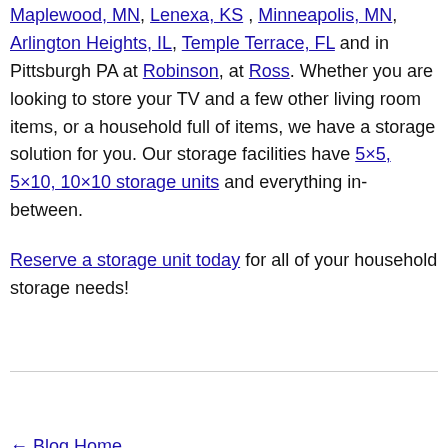Maplewood, MN, Lenexa, KS , Minneapolis, MN, Arlington Heights, IL, Temple Terrace, FL and in Pittsburgh PA at Robinson, at Ross. Whether you are looking to store your TV and a few other living room items, or a household full of items, we have a storage solution for you. Our storage facilities have 5×5, 5×10, 10×10 storage units and everything in-between.
Reserve a storage unit today for all of your household storage needs!
← Blog Home
← 2018 Pittsburgh Thanksgiving    5 Pittsburgh Charities to Donate